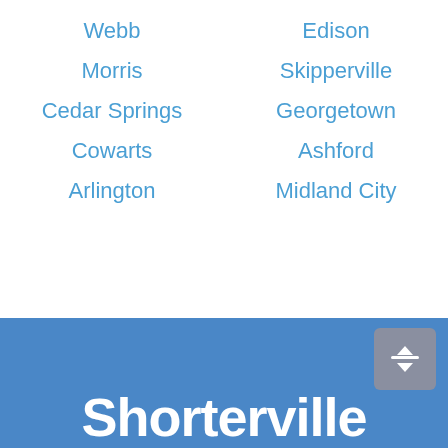Webb
Edison
Morris
Skipperville
Cedar Springs
Georgetown
Cowarts
Ashford
Arlington
Midland City
Shorterville